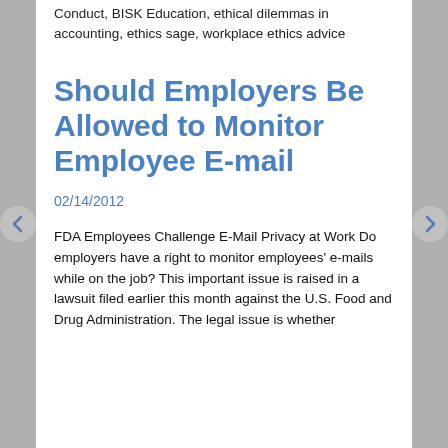Conduct, BISK Education, ethical dilemmas in accounting, ethics sage, workplace ethics advice
Should Employers Be Allowed to Monitor Employee E-mail
02/14/2012
FDA Employees Challenge E-Mail Privacy at Work Do employers have a right to monitor employees' e-mails while on the job? This important issue is raised in a lawsuit filed earlier this month against the U.S. Food and Drug Administration. The legal issue is whether